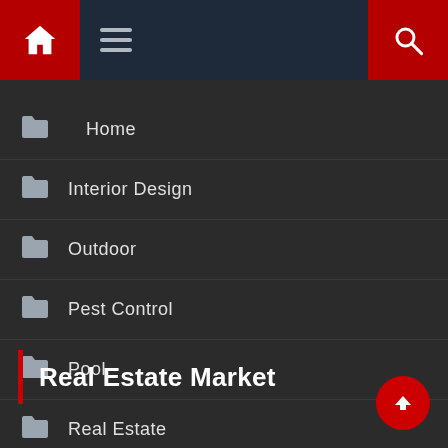Navigation header with home icon, hamburger menu, and search icon
Home
Interior Design
Outdoor
Pest Control
Pool
Real Estate
Real Estate Market